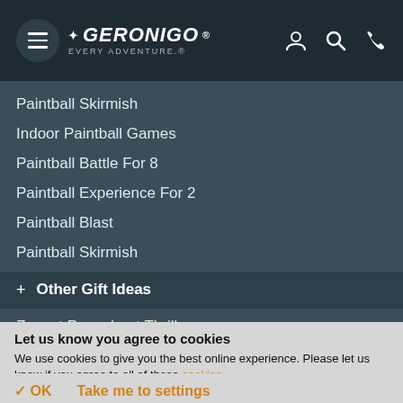[Figure (logo): Geronigo website header with hamburger menu, logo 'GERONIGO EVERY ADVENTURE.', user icon, search icon, and phone icon on dark background]
Paintball Skirmish
Indoor Paintball Games
Paintball Battle For 8
Paintball Experience For 2
Paintball Blast
Paintball Skirmish
+ Other Gift Ideas
Zapcat Powerboat Thrill
Half Day Abseiling Experience
Ultimate Zorbing Experience
Extreme Horse Riding Lesson
Let us know you agree to cookies
We use cookies to give you the best online experience. Please let us know if you agree to all of these cookies.
✓ OK   Take me to settings